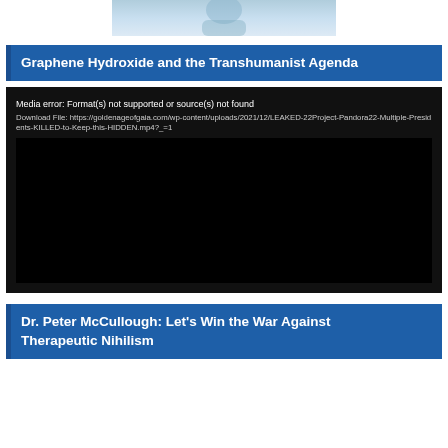[Figure (photo): Partial photo of a person in a blue/light background, cropped at top of page]
Graphene Hydroxide and the Transhumanist Agenda
[Figure (screenshot): Media error: Format(s) not supported or source(s) not found. Download File: https://goldenageofgaia.com/wp-content/uploads/2021/12/LEAKED-22Project-Pandora22-Multiple-Presidents-KILLED-to-Keep-this-HIDDEN.mp4?_=1]
Dr. Peter McCullough: Let’s Win the War Against Therapeutic Nihilism